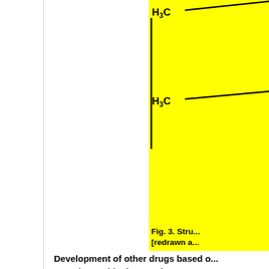[Figure (chemical-structure): Partial chemical structure diagram showing H3C groups on a yellow background, cropped at right edge of page]
Fig. 3. Stru... [redrawn a...
Development of other drugs based o... over the world. Three main approa... compounds, such as fluvastatin, we... concentrated on replacing the decal... aromatic ring. Secondly, chemical a... as simvastatin. In this drug, modific... Finally, microbial alteration of fung... pravastatin.
By altering the basic chemical comp... the drug can be increased. Simyasta...